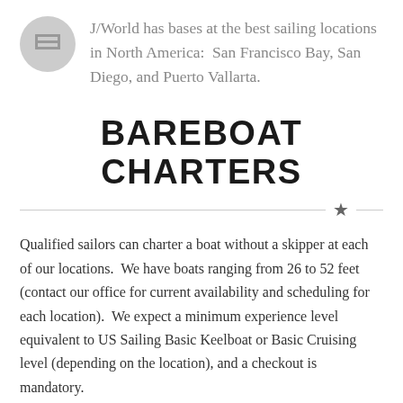J/World has bases at the best sailing locations in North America:  San Francisco Bay, San Diego, and Puerto Vallarta.
BAREBOAT CHARTERS
Qualified sailors can charter a boat without a skipper at each of our locations.  We have boats ranging from 26 to 52 feet (contact our office for current availability and scheduling for each location).  We expect a minimum experience level equivalent to US Sailing Basic Keelboat or Basic Cruising level (depending on the location), and a checkout is mandatory.